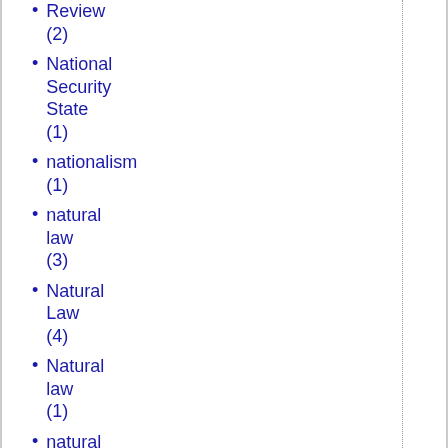Review (2)
National Security State (1)
nationalism (1)
natural law (3)
Natural Law (4)
Natural law (1)
natural resources (1)
natural theology (2)
naturalism (4)